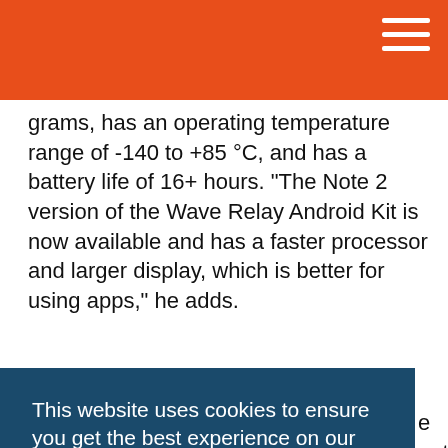grams, has an operating temperature range of -140 to +85 °C, and has a battery life of 16+ hours. “The Note 2 version of the Wave Relay Android Kit is now available and has a faster processor and larger display, which is better for using apps,” he adds.
[Figure (screenshot): Cookie consent banner with dark blue background reading 'This website uses cookies to ensure you get the best experience on our website.' with a 'Learn More' link and a dark red 'Got it!' button bar.]
generate a large volume contract that would